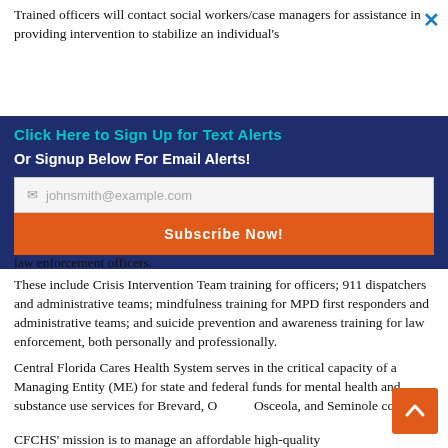Trained officers will contact social workers/case managers for assistance in providing intervention to stabilize an individual's
[Figure (screenshot): Email signup banner with dark blue background, 'Click Here to Sign Up for Text Alerts' in teal, 'Or Signup Below For Email Alerts!' in white bold, email input field with placeholder 'johnsmith@example.com', and orange 'Subscribe Now!' button]
law enforcement officers.
These include Crisis Intervention Team training for officers; 911 dispatchers and administrative teams; mindfulness training for MPD first responders and administrative teams; and suicide prevention and awareness training for law enforcement, both personally and professionally.
Central Florida Cares Health System serves in the critical capacity of a Managing Entity (ME) for state and federal funds for mental health and substance use services for Brevard, Orange, Osceola, and Seminole counties.
CFCHS' mission is to manage an affordable high-quality